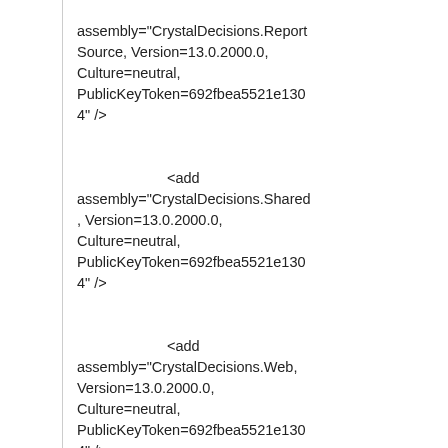assembly="CrystalDecisions.ReportSource, Version=13.0.2000.0, Culture=neutral, PublicKeyToken=692fbea5521e1304" />
<add assembly="CrystalDecisions.Shared, Version=13.0.2000.0, Culture=neutral, PublicKeyToken=692fbea5521e1304" />
<add assembly="CrystalDecisions.Web, Version=13.0.2000.0, Culture=neutral, PublicKeyToken=692fbea5521e1304" />
<add assembly="CrystalDecisions.ReportAppServer.ClientDoc, Version=13.0.2000.0, Culture=neutral, PublicKeyToken=692fbea5521e130